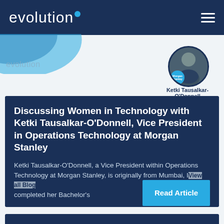evolution
[Figure (photo): Profile photo of Ketki Tausalkar-O'Donnell with Morgan Stanley badge overlay, circular cropped headshot]
Ketki Tausalkar-O'Donnell
Discussing Women in Technology with Ketki Tausalkar-O'Donnell, Vice President in Operations Technology at Morgan Stanley
Ketki Tausalkar-O'Donnell, a Vice President within Operations Technology at Morgan Stanley, is originally from Mumbai, India, and completed her Bachelor's
View all Blog
Read Article